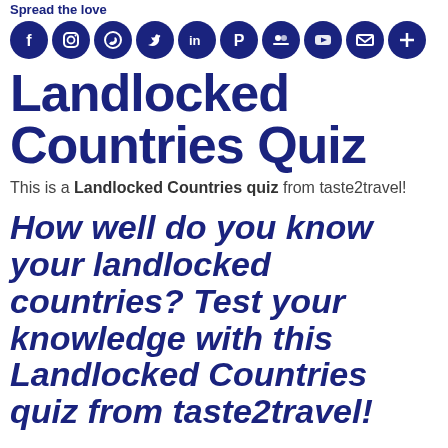Spread the love
[Figure (infographic): Row of 10 circular dark blue social media icon buttons: Facebook, Instagram, WhatsApp, Twitter, LinkedIn, Pinterest, Google (group), YouTube, Email, More (+)]
Landlocked Countries Quiz
This is a Landlocked Countries quiz from taste2travel!
How well do you know your landlocked countries? Test your knowledge with this Landlocked Countries quiz from taste2travel!